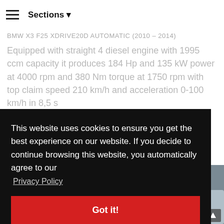Sections
BMW X3 F25 XDRIVE20D AUTOMATIC (2010 – 2014)
Equipped with straight 4 diesel engine with 1995 ccm capacity it produces 184 Hp and 135 kW power at 4000 rpm and 380 Nm torque at 1750 rpm with top claim speed 210 km/h and acceleration 0-100 km/h in 8,5 s
This website uses cookies to ensure you get the best experience on our website. If you decide to continue browsing this website, you automatically agree to our
Privacy Policy
Got it!
[Figure (photo): Partial view of a BMW X3 car shown at bottom right of page behind cookie consent overlay]